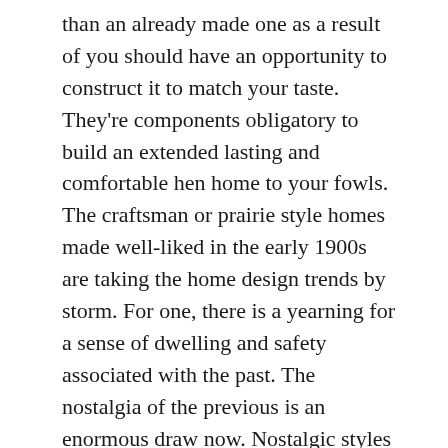than an already made one as a result of you should have an opportunity to construct it to match your taste. They're components obligatory to build an extended lasting and comfortable hen home to your fowls. The craftsman or prairie style homes made well-liked in the early 1900s are taking the home design trends by storm. For one, there is a yearning for a sense of dwelling and safety associated with the past. The nostalgia of the previous is an enormous draw now. Nostalgic styles complete, with wrap-around entrance porches, exposed rafters and "craftsman" details are the cutting edge now.
And plenty of of those areas are experiencing a rebirth and transformation. Many are present in neighborhoods constructed within the early 20th century and are now situated in trendy areas adjacent to major cities. When you will have concluded that you